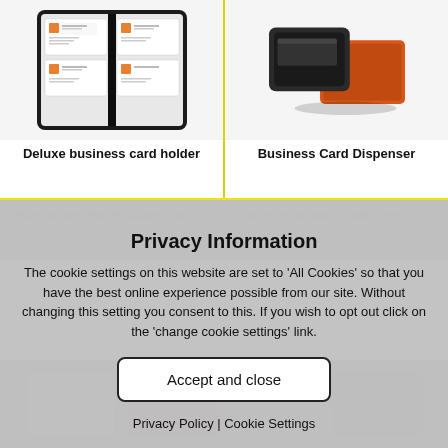[Figure (photo): A black business card holder/organizer book open showing multiple business cards in clear plastic sleeves]
[Figure (photo): A black and orange leather business card dispenser/holder shown side by side]
Deluxe business card holder
Business Card Dispenser
Privacy Information
The cookie settings on this website are set to 'All Cookies' so that you have the best online experience possible from our site. Without changing this setting you consent to this. If you wish to opt out click on the 'change cookie settings' link.
Accept and close
Privacy Policy | Cookie Settings